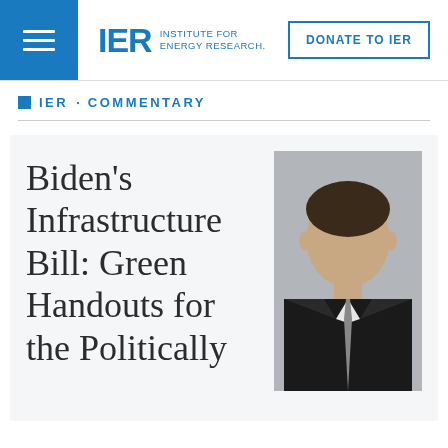IER INSTITUTE FOR ENERGY RESEARCH. DONATE TO IER
IER . COMMENTARY
Biden's Infrastructure Bill: Green Handouts for the Politically
[Figure (photo): Headshot of a man in a dark suit and tie against a gray background]